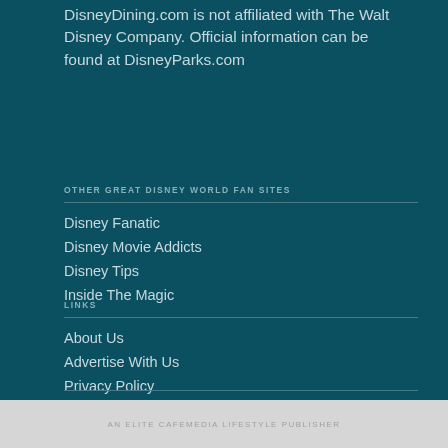DisneyDining.com is not affiliated with The Walt Disney Company. Official information can be found at DisneyParks.com
OTHER GREAT DISNEY WORLD FAN SITES
Disney Fanatic
Disney Movie Addicts
Disney Tips
Inside The Magic
LINKS
About Us
Advertise With Us
Privacy Policy
AN ELITE CAFEMEDIA LIFESTYLE PUBLISHER